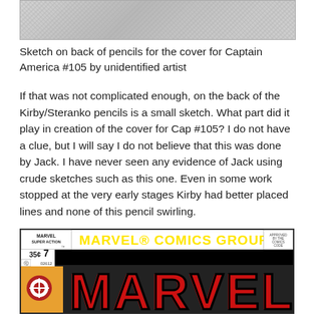[Figure (photo): Sketch image on back of pencils, grayscale/textured photo]
Sketch on back of pencils for the cover for Captain America #105 by unidentified artist
If that was not complicated enough, on the back of the Kirby/Steranko pencils is a small sketch. What part did it play in creation of the cover for Cap #105? I do not have a clue, but I will say I do not believe that this was done by Jack. I have never seen any evidence of Jack using crude sketches such as this one. Even in some work stopped at the very early stages Kirby had better placed lines and none of this pencil swirling.
[Figure (photo): Marvel Comics Group magazine cover showing Marvel Super Action #7, 35 cents, with large red MARVEL text on black and white masthead background]